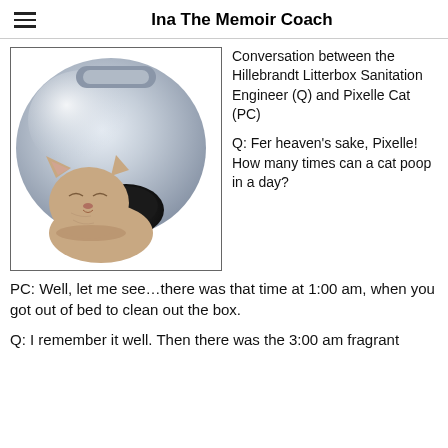Ina The Memoir Coach
[Figure (photo): A hairless (Sphynx) cat with eyes closed, sitting inside or in front of a large round grey plastic dome-shaped litter box]
Conversation between the Hillebrandt Litterbox Sanitation Engineer (Q) and Pixelle Cat (PC)
Q: Fer heaven’s sake, Pixelle! How many times can a cat poop in a day?
PC: Well, let me see…there was that time at 1:00 am, when you got out of bed to clean out the box.
Q: I remember it well. Then there was the 3:00 am fragrant